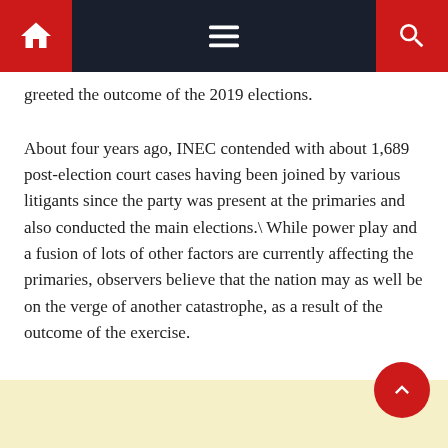Navigation bar with home, menu, and search icons
greeted the outcome of the 2019 elections.
About four years ago, INEC contended with about 1,689 post-election court cases having been joined by various litigants since the party was present at the primaries and also conducted the main elections.\ While power play and a fusion of lots of other factors are currently affecting the primaries, observers believe that the nation may as well be on the verge of another catastrophe, as a result of the outcome of the exercise.